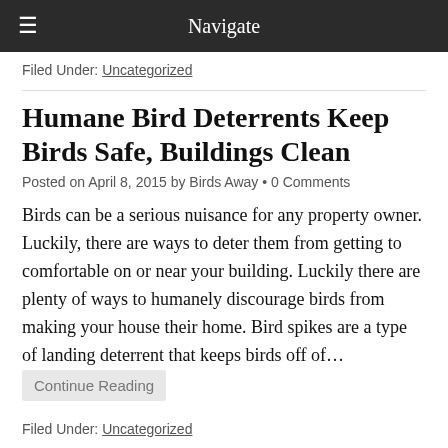Navigate
Filed Under: Uncategorized
Humane Bird Deterrents Keep Birds Safe, Buildings Clean
Posted on April 8, 2015 by Birds Away • 0 Comments
Birds can be a serious nuisance for any property owner. Luckily, there are ways to deter them from getting to comfortable on or near your building. Luckily there are plenty of ways to humanely discourage birds from making your house their home. Bird spikes are a type of landing deterrent that keeps birds off of… Continue Reading
Filed Under: Uncategorized